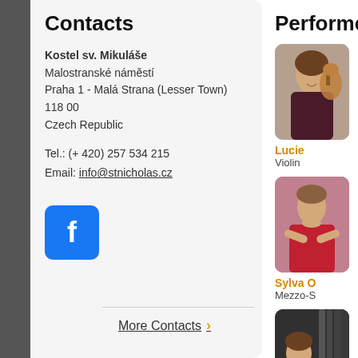Contacts
Kostel sv. Mikuláše
Malostranské náměstí
Praha 1 - Malá Strana (Lesser Town)
118 00
Czech Republic
Tel.: (+ 420) 257 534 215
Email: info@stnicholas.cz
[Figure (logo): Facebook logo icon, blue square with white 'f']
More Contacts ›
Performers
[Figure (photo): Woman holding a violin, smiling]
Lucie
Violin
[Figure (photo): Woman in red dress with arms crossed looking to camera]
Sylva O
Mezzo-S
[Figure (photo): Woman at organ instrument, dark background]
Jiřina P
Organ a